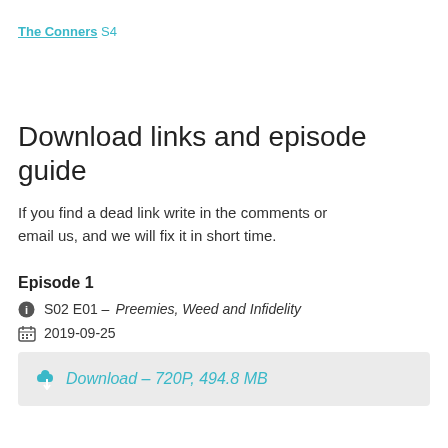The Conners S4
Download links and episode guide
If you find a dead link write in the comments or email us, and we will fix it in short time.
Episode 1
S02 E01 – Preemies, Weed and Infidelity
2019-09-25
Download – 720P, 494.8 MB